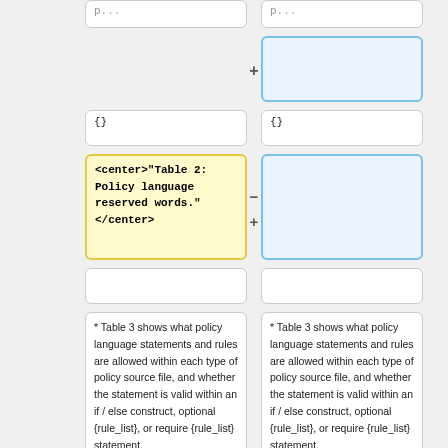[Figure (screenshot): Diff view showing two columns. Left column has a yellow-highlighted cell with code: <center>"Table 2: Policy language reserved words."</center>. Right column has empty blue cells and plus markers. Bottom rows show text: '* Table 3 shows what policy language statements and rules are allowed within each type of policy source file, and whether the statement is valid within an if / else construct, optional {rule_list}, or require {rule_list} statement.']